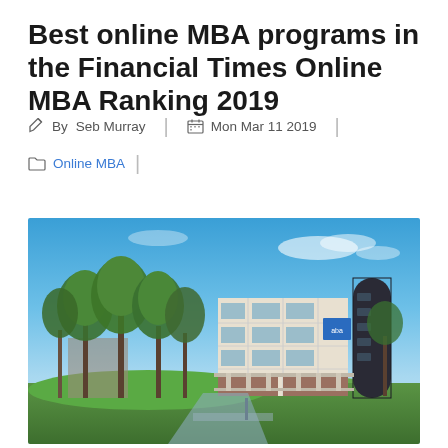Best online MBA programs in the Financial Times Online MBA Ranking 2019
By Seb Murray | Mon Mar 11 2019 | Online MBA
[Figure (photo): Exterior photo of a modern university business school building with large trees in the foreground, green lawn, blue sky with light clouds. The building is multi-story with glass and concrete facade, featuring a blue logo/sign on one section.]